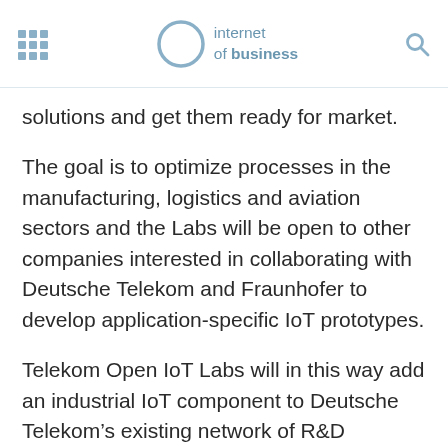internet of business
solutions and get them ready for market.
The goal is to optimize processes in the manufacturing, logistics and aviation sectors and the Labs will be open to other companies interested in collaborating with Deutsche Telekom and Fraunhofer to develop application-specific IoT prototypes.
Telekom Open IoT Labs will in this way add an industrial IoT component to Deutsche Telekom’s existing network of R&D facilities. In 2016, R&D expenditure by parent company Deutsche Telekom Group amounted to €84.1 million. There are numerous ‘T-Labs’ worldwide, including those in